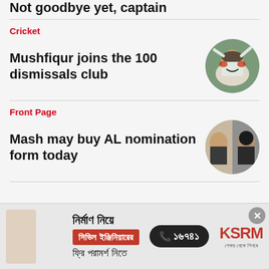Not goodbye yet, captain
Cricket
Mushfiqur joins the 100 dismissals club
[Figure (photo): Circular thumbnail of a cricket player celebrating with arms raised, wearing whites and a cap]
Front Page
Mash may buy AL nomination form today
[Figure (photo): Circular thumbnail showing two male faces side by side]
[Figure (other): Blue banner with Bangla script text]
[Figure (other): Advertisement overlay for KSRM with Bengali text about construction and civil engineering consultation, phone number 16741]
নির্মাণ নিয়ে সিভিল ইঞ্জিনিয়ারের ফ্রি পরামর্শ নিতে ০১৬৭৪১ KSRM